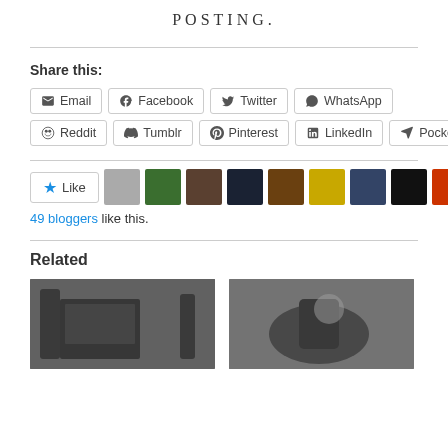POSTING.
Share this:
Email  Facebook  Twitter  WhatsApp  Reddit  Tumblr  Pinterest  LinkedIn  Pocket
[Figure (other): Like button and blogger avatar thumbnails row. 49 bloggers like this.]
49 bloggers like this.
Related
[Figure (photo): Two related post thumbnail images: black and white photo of a building with palm trees, and a black and white photo of a steam locomotive or machinery.]